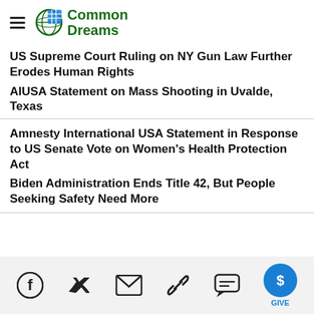Common Dreams
US Supreme Court Ruling on NY Gun Law Further Erodes Human Rights
AIUSA Statement on Mass Shooting in Uvalde, Texas
Amnesty International USA Statement in Response to US Senate Vote on Women's Health Protection Act
Biden Administration Ends Title 42, But People Seeking Safety Need More
Social share icons: Facebook, Twitter, Email, Link, Comment, GIVE